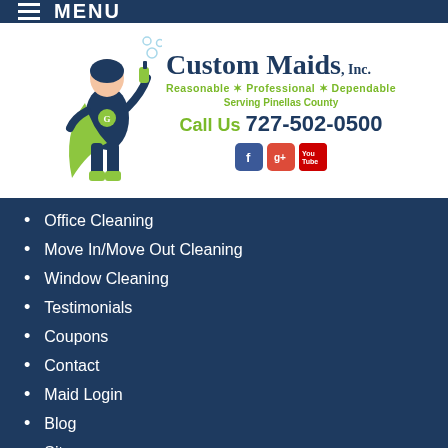MENU
[Figure (logo): Custom Maids Inc. logo featuring a superhero maid figure in navy and lime green, with tagline 'Reasonable * Professional * Dependable', 'Serving Pinellas County', phone number 727-502-0500, and social media icons for Facebook, Google+, and YouTube]
Office Cleaning
Move In/Move Out Cleaning
Window Cleaning
Testimonials
Coupons
Contact
Maid Login
Blog
Sitemap
LATEST NEWS